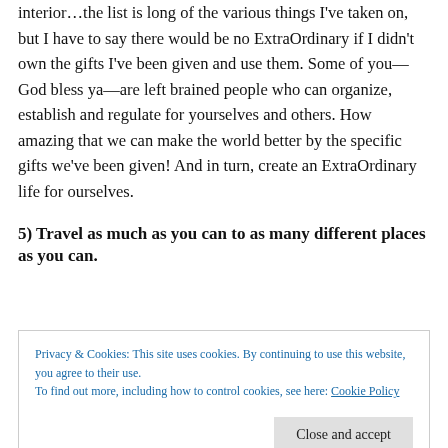interior…the list is long of the various things I've taken on, but I have to say there would be no ExtraOrdinary if I didn't own the gifts I've been given and use them. Some of you—God bless ya—are left brained people who can organize, establish and regulate for yourselves and others. How amazing that we can make the world better by the specific gifts we've been given! And in turn, create an ExtraOrdinary life for ourselves.
5) Travel as much as you can to as many different places as you can.
Privacy & Cookies: This site uses cookies. By continuing to use this website, you agree to their use.
To find out more, including how to control cookies, see here: Cookie Policy
(Melbourne, I need to visit you!), but I will get to the far